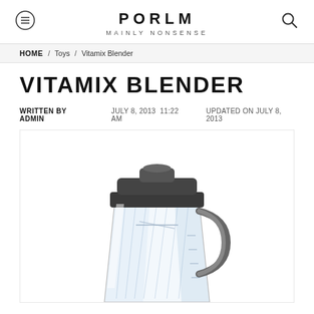PORLM — MAINLY NONSENSE
HOME / Toys / Vitamix Blender
VITAMIX BLENDER
WRITTEN BY ADMIN   JULY 8, 2013  11:22 AM   UPDATED ON JULY 8, 2013
[Figure (photo): Vitamix blender container — clear polycarbonate pitcher with dark grey lid and handle, photographed from above at a slight angle on a white background.]